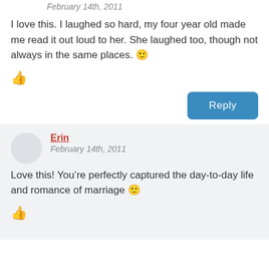February 14th, 2011
I love this. I laughed so hard, my four year old made me read it out loud to her. She laughed too, though not always in the same places. 🙂
👍
Reply
Erin
February 14th, 2011
Love this! You're perfectly captured the day-to-day life and romance of marriage 🙂
👍